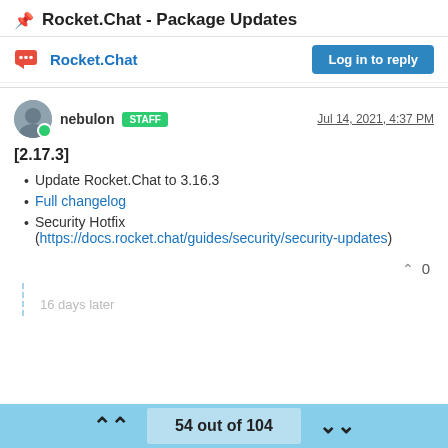📌 Rocket.Chat - Package Updates
Rocket.Chat  |  Log in to reply
nebulon STAFF  Jul 14, 2021, 4:37 PM
[2.17.3]
Update Rocket.Chat to 3.16.3
Full changelog
Security Hotfix (https://docs.rocket.chat/guides/security/security-updates)
^ 0
16 days later
54 out of 104